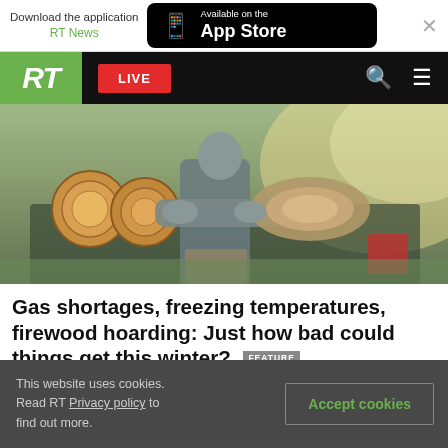Download the application RT News — Available on the App Store
RT LIVE
[Figure (photo): Person carrying large log near a truck loaded with firewood logs, outdoor setting with sunlight]
Gas shortages, freezing temperatures, firewood hoarding: Just how bad could things get this winter? FEATURE
This website uses cookies. Read RT Privacy policy to find out more. Accept cookies